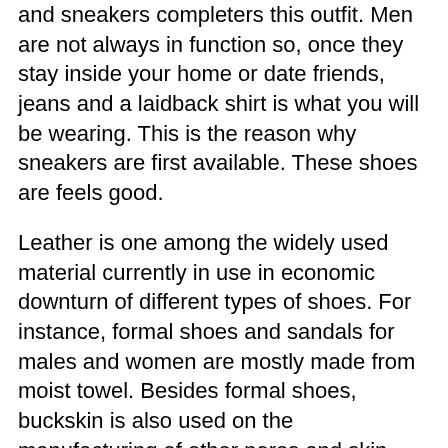and sneakers completers this outfit. Men are not always in function so, once they stay inside your home or date friends, jeans and a laidback shirt is what you will be wearing. This is the reason why sneakers are first available. These shoes are feels good.
Leather is one among the widely used material currently in use in economic downturn of different types of shoes. For instance, formal shoes and sandals for males and women are mostly made from moist towel. Besides formal shoes, buckskin is also used on the manufacturing of other pores and skin shoes with the exception of sports golf shoes. Sports shoes are mostly made using canvas or faux household leather. Then there are some sports need to have shoes